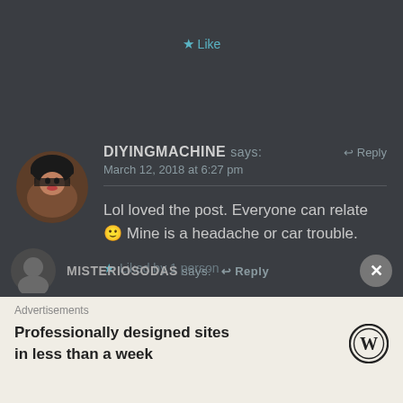★ Like
DIYINGMACHINE says:    ↩ Reply
March 12, 2018 at 6:27 pm
Lol loved the post. Everyone can relate 🙂 Mine is a headache or car trouble.
★ Liked by 1 person
MISTERIOSODAS says:   ↩ Reply
Advertisements
Professionally designed sites in less than a week